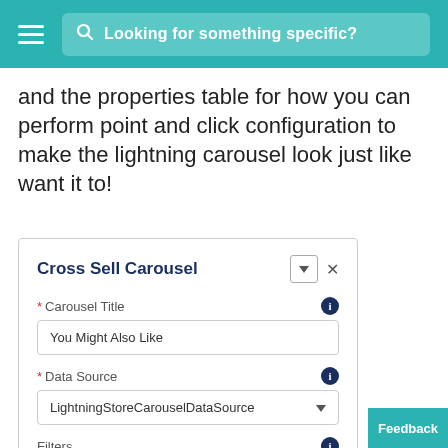Looking for something specific?
and the properties table for how you can perform point and click configuration to make the lightning carousel look just like want it to!
[Figure (screenshot): A UI panel titled 'Cross Sell Carousel' with fields: Carousel Title (value: 'You Might Also Like'), Data Source (value: 'LightningStoreCarouselDataSource'), Filters (empty), Maximum Items (empty).]